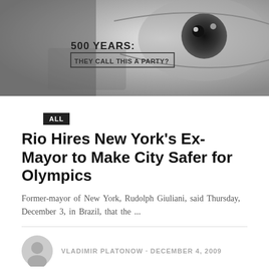[Figure (photo): Black and white close-up photo of an eye with text overlay reading '500 YEARS: THEY CALL THIS A PARTY?']
ALL
Rio Hires New York's Ex-Mayor to Make City Safer for Olympics
Former-mayor of New York, Rudolph Giuliani, said Thursday, December 3, in Brazil, that the ...
VLADIMIR PLATONOW · DECEMBER 4, 2009
[Figure (photo): Black and white image with large 'brazil' text overlay and a music inset reading 'MUSIC: Acari, the new afore factory']